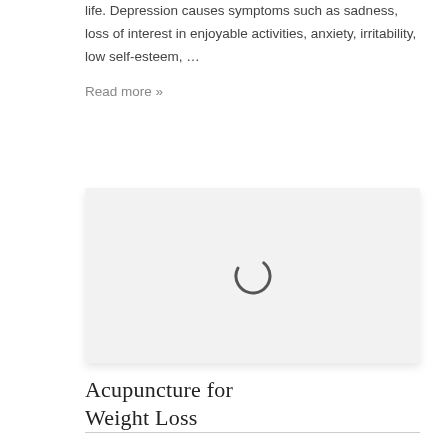life. Depression causes symptoms such as sadness, loss of interest in enjoyable activities, anxiety, irritability, low self-esteem, …
Read more »
[Figure (photo): Image placeholder with loading spinner (grey background, circular loading indicator in center)]
Acupuncture for Weight Loss
Summer will be here before you know it! Are you ready to bare all? As much as we may look forward to the arrival of summer, we react with equal amounts of dread when